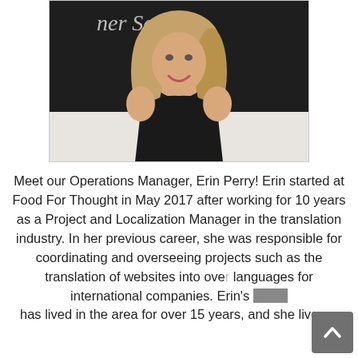[Figure (photo): Portrait photo of a smiling blonde woman in a black sleeveless top, standing in front of a dark chalkboard with white cursive text reading 'ner Serie']
Meet our Operations Manager, Erin Perry! Erin started at Food For Thought in May 2017 after working for 10 years as a Project and Localization Manager in the translation industry. In her previous career, she was responsible for coordinating and overseeing projects such as the translation of websites into over languages for international companies. Erin's family has lived in the area for over 15 years, and she lives...